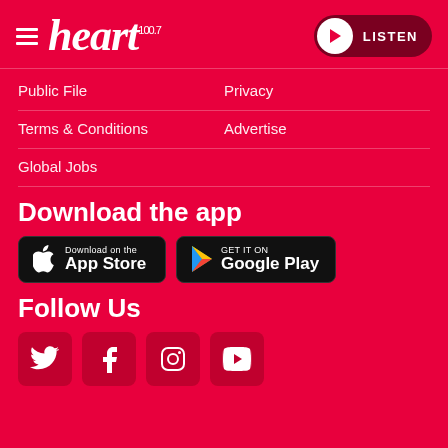heart 100.7 — LISTEN
Public File
Privacy
Terms & Conditions
Advertise
Global Jobs
Download the app
[Figure (logo): Download on the App Store badge]
[Figure (logo): Get it on Google Play badge]
Follow Us
[Figure (logo): Social media icons: Twitter, Facebook, Instagram, YouTube]